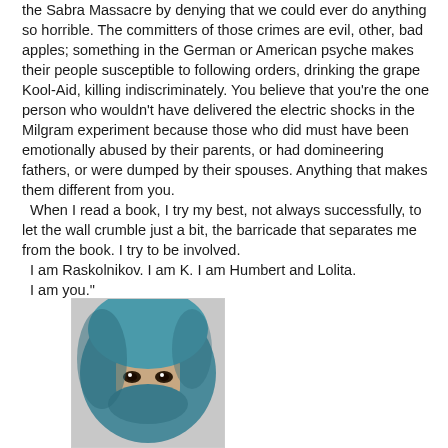the Sabra Massacre by denying that we could ever do anything so horrible. The committers of those crimes are evil, other, bad apples; something in the German or American psyche makes their people susceptible to following orders, drinking the grape Kool-Aid, killing indiscriminately. You believe that you're the one person who wouldn't have delivered the electric shocks in the Milgram experiment because those who did must have been emotionally abused by their parents, or had domineering fathers, or were dumped by their spouses. Anything that makes them different from you.
  When I read a book, I try my best, not always successfully, to let the wall crumble just a bit, the barricade that separates me from the book. I try to be involved.
  I am Raskolnikov. I am K. I am Humbert and Lolita.
  I am you."
[Figure (photo): A person wearing a teal/blue head covering (hijab or similar), with only their eyes and forehead visible. A small mark or bindi is visible on the forehead. The image is partially cut off at the bottom.]